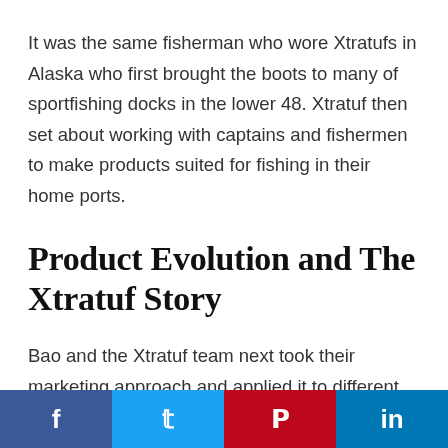It was the same fisherman who wore Xtratufs in Alaska who first brought the boots to many of sportfishing docks in the lower 48. Xtratuf then set about working with captains and fishermen to make products suited for fishing in their home ports.
Product Evolution and The Xtratuf Story
Bao and the Xtratuf team next took their marketing approach and applied it to different